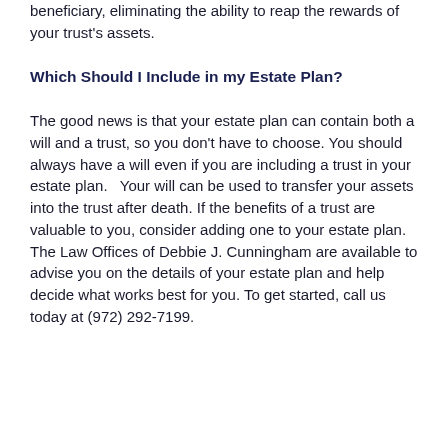beneficiary, eliminating the ability to reap the rewards of your trust's assets.
Which Should I Include in my Estate Plan?
The good news is that your estate plan can contain both a will and a trust, so you don't have to choose. You should always have a will even if you are including a trust in your estate plan.   Your will can be used to transfer your assets into the trust after death. If the benefits of a trust are valuable to you, consider adding one to your estate plan. The Law Offices of Debbie J. Cunningham are available to advise you on the details of your estate plan and help decide what works best for you. To get started, call us today at (972) 292-7199.
[Figure (other): Tab bar with Bio and Latest Posts tabs, and a card showing the Law Offices of Debbie J. Cunningham logo and firm name in cyan.]